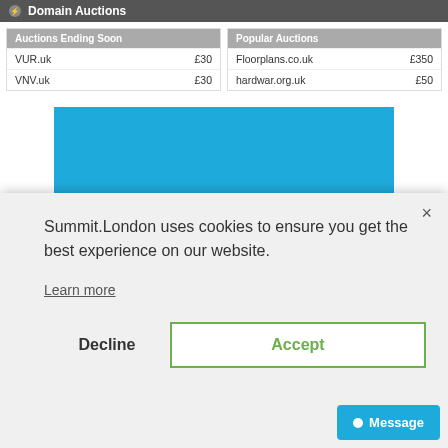Domain Auctions
| Auctions Ending Soon |  |
| --- | --- |
| VUR.uk | £30 |
| VNV.uk | £30 |
| Popular Auctions |  |
| --- | --- |
| Floorplans.co.uk | £350 |
| hardwar.org.uk | £50 |
[Figure (screenshot): sedo.com blue advertisement banner with white bold text reading 'sedo.com']
Summit.London uses cookies to ensure you get the best experience on our website.
Learn more
Decline
Accept
Message